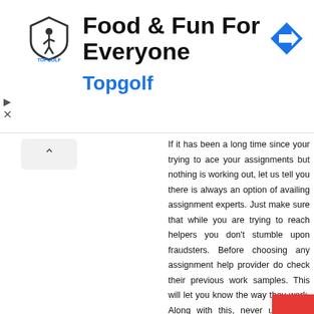[Figure (infographic): Advertisement banner for Topgolf: 'Food & Fun For Everyone' with Topgolf logo and navigation icon]
If it has been a long time since your trying to ace your assignments but nothing is working out, let us tell you there is always an option of availing assignment experts. Just make sure that while you are trying to reach helpers you don't stumble upon fraudsters. Before choosing any assignment help provider do check their previous work samples. This will let you know the way they work. Along with this, never undermine the importance of user feedback while judging a website. Go through the student reviews carefully and see whether maximum users have criticized their service or loved it. Then make a decision that you deem fit.